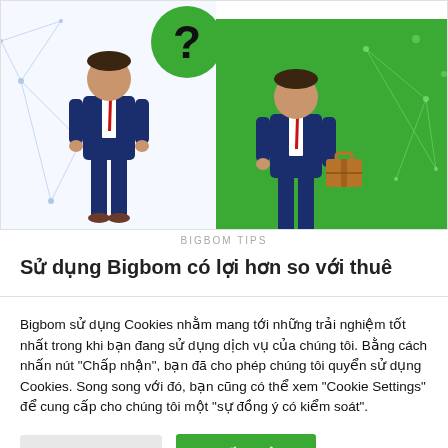[Figure (illustration): Split illustration: left half shows a businessman in a blue suit on white/light-blue geometric background, right half shows a businessman with a briefcase on a green background. A green circle with a question mark is centered at top between the two figures.]
BIGBOM TIPS
Sử dụng Bigbom có lợi hơn so với thuê
Bigbom sử dụng Cookies nhằm mang tới những trải nghiệm tốt nhất trong khi bạn đang sử dụng dịch vụ của chúng tôi. Bằng cách nhấn nút "Chấp nhận", bạn đã cho phép chúng tôi quyển sử dụng Cookies. Song song với đó, bạn cũng có thể xem "Cookie Settings" để cung cấp cho chúng tôi một "sự đồng ý có kiểm soát".
Cookie Settings
Chấp nhận